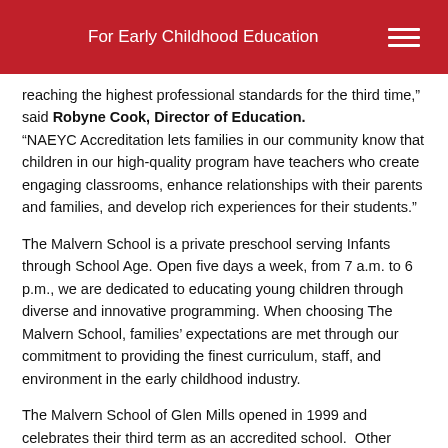For Early Childhood Education
reaching the highest professional standards for the third time,” said Robyne Cook, Director of Education. “NAEYC Accreditation lets families in our community know that children in our high-quality program have teachers who create engaging classrooms, enhance relationships with their parents and families, and develop rich experiences for their students.”
The Malvern School is a private preschool serving Infants through School Age. Open five days a week, from 7 a.m. to 6 p.m., we are dedicated to educating young children through diverse and innovative programming. When choosing The Malvern School, families’ expectations are met through our commitment to providing the finest curriculum, staff, and environment in the early childhood industry.
The Malvern School of Glen Mills opened in 1999 and celebrates their third term as an accredited school.  Other